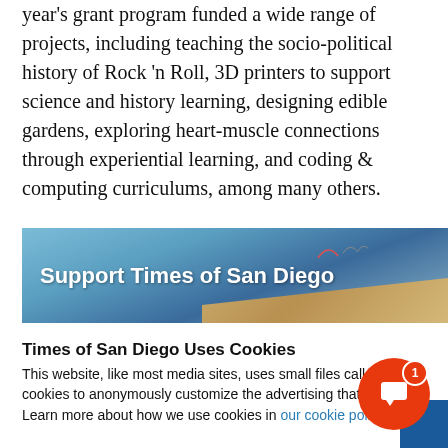year's grant program funded a wide range of projects, including teaching the socio-political history of Rock 'n Roll, 3D printers to support science and history learning, designing edible gardens, exploring heart-muscle connections through experiential learning, and coding & computing curriculums, among many others.
[Figure (photo): Banner image reading 'Support Times of San Diego' with a coastal landscape background showing sky, hills, and ocean]
Times of San Diego Uses Cookies
This website, like most media sites, uses small files called cookies to anonymously customize the advertising that you see. Learn more about how we use cookies in our cookie policy.